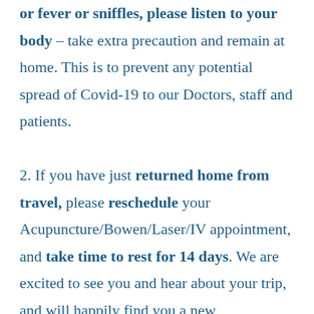or fever or sniffles, please listen to your body – take extra precaution and remain at home. This is to prevent any potential spread of Covid-19 to our Doctors, staff and patients.

2. If you have just returned home from travel, please reschedule your Acupuncture/Bowen/Laser/IV appointment, and take time to rest for 14 days. We are excited to see you and hear about your trip, and will happily find you a new appointment slot after two weeks. Alternatively, for return Naturopathic Consults, we will simply switch